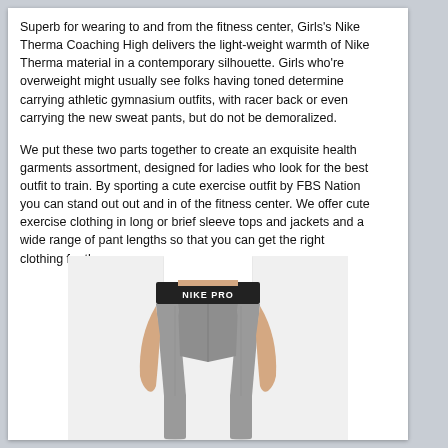Superb for wearing to and from the fitness center, Girls's Nike Therma Coaching High delivers the light-weight warmth of Nike Therma material in a contemporary silhouette. Girls who're overweight might usually see folks having toned determine carrying athletic gymnasium outfits, with racer back or even carrying the new sweat pants, but do not be demoralized.
We put these two parts together to create an exquisite health garments assortment, designed for ladies who look for the best outfit to train. By sporting a cute exercise outfit by FBS Nation you can stand out out and in of the fitness center. We offer cute exercise clothing in long or brief sleeve tops and jackets and a wide range of pant lengths so that you can get the right clothing for the season.
[Figure (photo): A person wearing grey Nike Pro leggings with a black waistband labeled NIKE PRO, shown from waist to below knees, with a white top.]